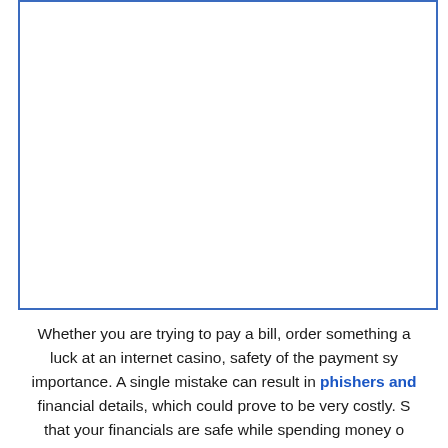[Figure (other): White rectangular image placeholder with blue border]
Whether you are trying to pay a bill, order something or try your luck at an internet casino, safety of the payment sy[stem] is of utmost importance. A single mistake can result in phishers and [hackers stealing your] financial details, which could prove to be very costly. S[o, to ensure] that your financials are safe while spending money o[nline, use] reliable websites and trusted payment systems. How d[o you know...]